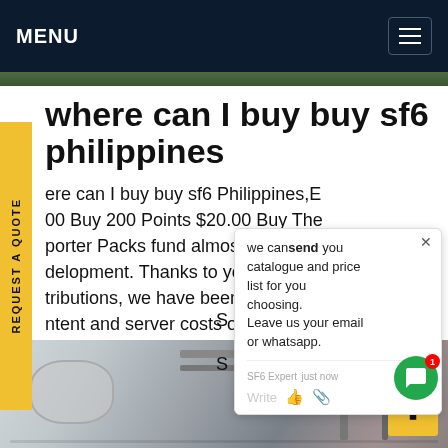MENU
where can I buy buy sf6 philippines
ere can I buy buy sf6 Philippines,E...00 Buy 200 Points $20.00 Buy The...porter Packs fund almost all of P...delopment. Thanks to your ge...tributions, we have been able to...ntent and server costs of Path of Exile and its...nyGet price
[Figure (screenshot): Chat popup overlay with text: 'we can send you catalogue and price list for you choosing. Leave us your email or whatsapp.' with SF6 Expert label and just now timestamp, and write/emoji icons]
[Figure (photo): Industrial equipment photo showing pipes, tanks and ceiling infrastructure in a facility]